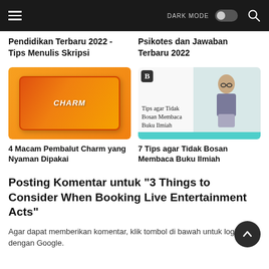DARK MODE (toggle)
Pendidikan Terbaru 2022 - Tips Menulis Skripsi
Psikotes dan Jawaban Terbaru 2022
[Figure (photo): Charm sanitary pad product packaging held against orange background]
[Figure (photo): Blog thumbnail showing child reading with glasses, titled 'Tips agar Tidak Bosan Membaca Buku Ilmiah']
4 Macam Pembalut Charm yang Nyaman Dipakai
7 Tips agar Tidak Bosan Membaca Buku Ilmiah
Posting Komentar untuk "3 Things to Consider When Booking Live Entertainment Acts"
Agar dapat memberikan komentar, klik tombol di bawah untuk login dengan Google.